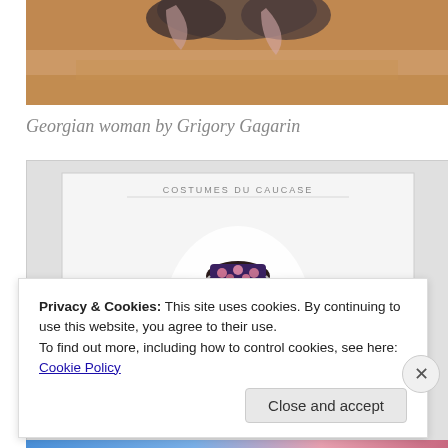[Figure (illustration): Partial view of a colorful historical illustration showing figures against an orange/brown background — top portion of a Grigory Gagarin painting of a Georgian woman.]
Georgian woman by Grigory Gagarin
[Figure (illustration): Second illustration showing a Georgian woman in traditional costume with a white veil and decorated headdress, labeled 'COSTUMES DU CAUCASE' at the top.]
Privacy & Cookies: This site uses cookies. By continuing to use this website, you agree to their use.
To find out more, including how to control cookies, see here: Cookie Policy
Close and accept